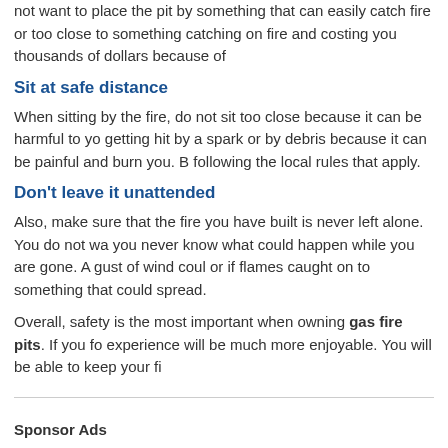not want to place the pit by something that can easily catch fire or too close to something catching on fire and costing you thousands of dollars because of
Sit at safe distance
When sitting by the fire, do not sit too close because it can be harmful to you, getting hit by a spark or by debris because it can be painful and burn you. Be following the local rules that apply.
Don't leave it unattended
Also, make sure that the fire you have built is never left alone. You do not want you never know what could happen while you are gone. A gust of wind could or if flames caught on to something that could spread.
Overall, safety is the most important when owning gas fire pits. If you fol experience will be much more enjoyable. You will be able to keep your fi
Sponsor Ads
Ad Space Available - Rent it Now!
About SEQUOIA LAND DESIGN  Sequoia Land Design